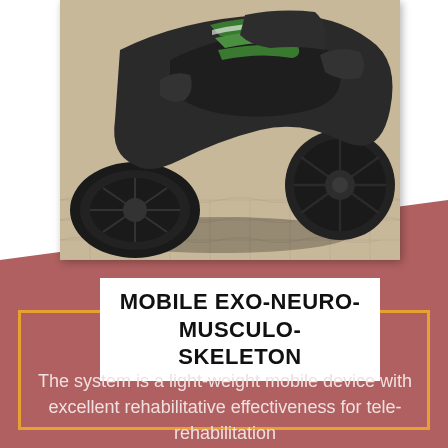[Figure (photo): A dark-colored (black/dark green) mobile exo-neuro-musculo-skeleton device photographed on a tiled ground surface. The device has large wheels, padded seat, and green accent stripes.]
MOBILE EXO-NEURO-MUSCULO-SKELETON
The system is a light-weight mobile device with excellent rehabilitative effectiveness for tele-rehabilitation